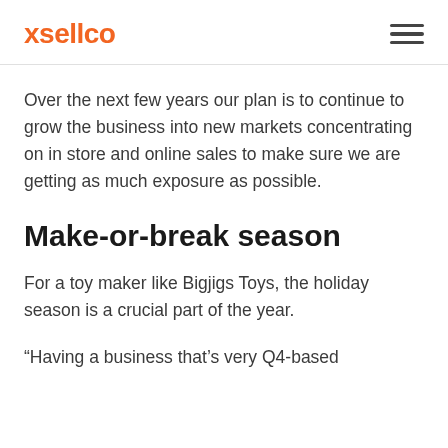xsellco
Over the next few years our plan is to continue to grow the business into new markets concentrating on in store and online sales to make sure we are getting as much exposure as possible.
Make-or-break season
For a toy maker like Bigjigs Toys, the holiday season is a crucial part of the year.
“Having a business that’s very Q4-based